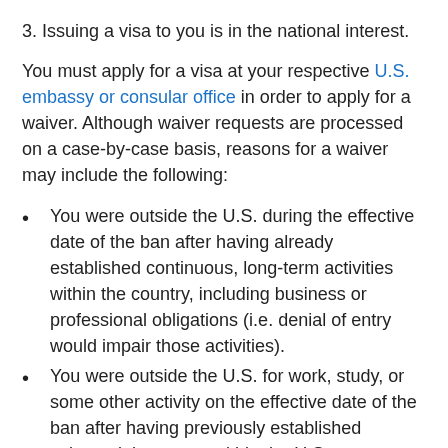3. Issuing a visa to you is in the national interest.
You must apply for a visa at your respective U.S. embassy or consular office in order to apply for a waiver. Although waiver requests are processed on a case-by-case basis, reasons for a waiver may include the following:
You were outside the U.S. during the effective date of the ban after having already established continuous, long-term activities within the country, including business or professional obligations (i.e. denial of entry would impair those activities).
You were outside the U.S. for work, study, or some other activity on the effective date of the ban after having previously established substantial contacts within the U.S.
You'd like to visit with a close family member in the U.S. who's a citizen, LPR, or a lawfully admitted immigrant on